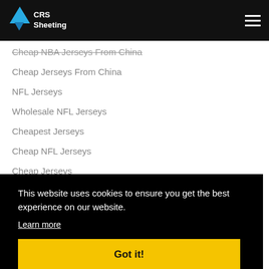CRS Sheeting
Cheap NBA Jerseys From China
Cheap Jerseys From China
NFL Jerseys
Wholesale NFL Jerseys
Cheapest Jerseys
Cheap NFL Jerseys
Cheap Jerseys
This website uses cookies to ensure you get the best experience on our website.
Learn more
Got it!
MLB Shop